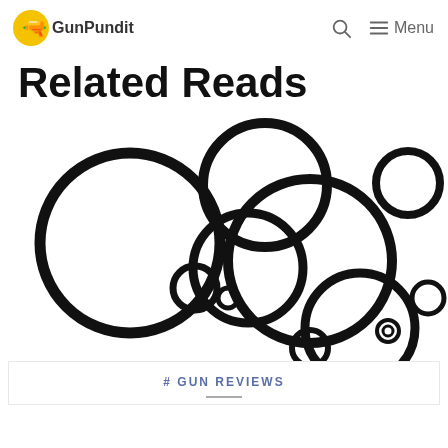GunPundit — Menu
Related Reads
[Figure (photo): Multiple black rubber O-rings of various sizes scattered on a white background]
# GUN REVIEWS